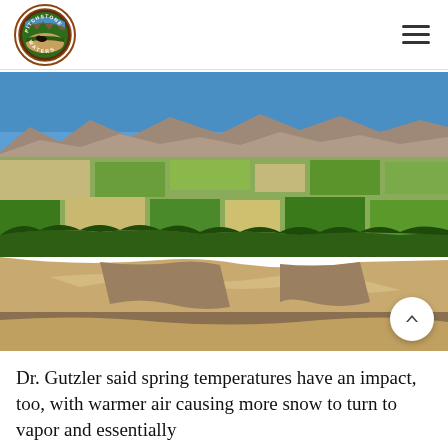Pitchstone Waters logo and navigation
[Figure (photo): Aerial photograph showing agricultural fields, a dry/low river with sandbars winding through a riparian corridor of trees, farmland in various states of irrigation, and mountains visible in the background under a blue sky.]
Dr. Gutzler said spring temperatures have an impact, too, with warmer air causing more snow to turn to vapor and essentially disappear before reaching streams, a process known as